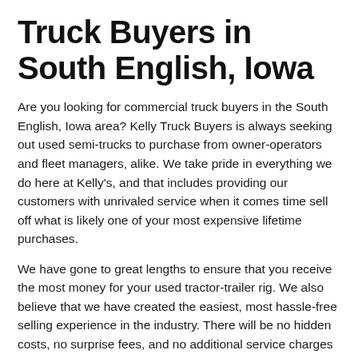Truck Buyers in South English, Iowa
Are you looking for commercial truck buyers in the South English, Iowa area? Kelly Truck Buyers is always seeking out used semi-trucks to purchase from owner-operators and fleet managers, alike. We take pride in everything we do here at Kelly's, and that includes providing our customers with unrivaled service when it comes time sell off what is likely one of your most expensive lifetime purchases.
We have gone to great lengths to ensure that you receive the most money for your used tractor-trailer rig. We also believe that we have created the easiest, most hassle-free selling experience in the industry. There will be no hidden costs, no surprise fees, and no additional service charges that eat into your end of the bargain. When you call us, or visit online and complete our online form, we'll be able to give you a quote for your used truck almost immediately. After that, all you need to provide us with is a time and place to collect your vehicle and pay you. It's as simple as that!
Once we have your trucks information all you have to do is sit back